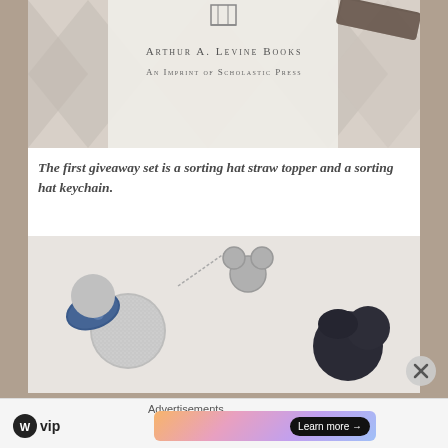[Figure (photo): Photo of a book page showing 'Arthur A. Levine Books / An Imprint of Scholastic Press' with a glittery dark object visible in the top right corner, on a diamond-pattern background.]
The first giveaway set is a sorting hat straw topper and a sorting hat keychain.
[Figure (photo): Photo of two keychains/accessories: a silver glittery Mickey Mouse ear keychain with a blue bow (Minnie style) on the left, and a dark/black sorting hat straw topper on the right, on a white background.]
Advertisements